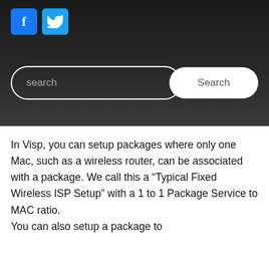[Figure (screenshot): Dark header section with Facebook (f) and Twitter (bird) social media icon buttons in blue squares, and a search bar with text input field 'search' and a white 'Search' button]
In Visp, you can setup packages where only one Mac, such as a wireless router, can be associated with a package. We call this a “Typical Fixed Wireless ISP Setup” with a 1 to 1 Package Service to MAC ratio.
You can also setup a package to